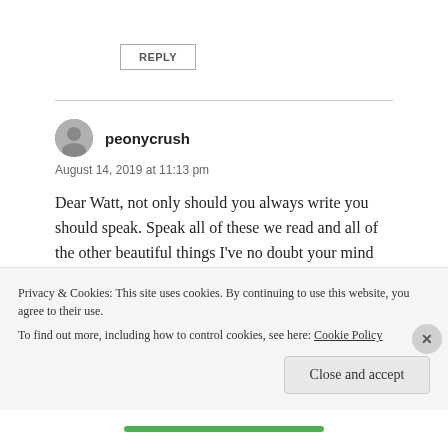REPLY
peonycrush
August 14, 2019 at 11:13 pm
Dear Watt, not only should you always write you should speak. Speak all of these we read and all of the other beautiful things I've no doubt your mind holds. You are
Privacy & Cookies: This site uses cookies. By continuing to use this website, you agree to their use.
To find out more, including how to control cookies, see here: Cookie Policy
Close and accept